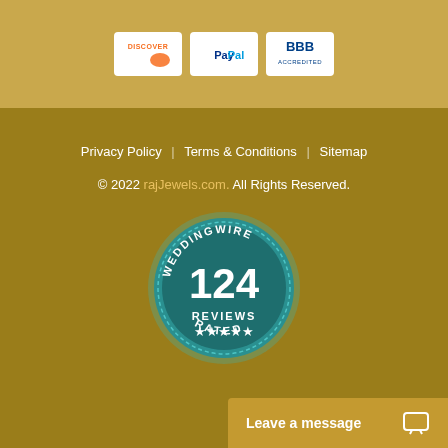[Figure (logo): Discover payment method logo badge]
[Figure (logo): PayPal payment method logo badge]
[Figure (logo): BBB (Better Business Bureau) logo badge]
Privacy Policy | Terms & Conditions | Sitemap
© 2022 rajJewels.com. All Rights Reserved.
[Figure (logo): WeddingWire 124 Reviews 5-star Rated badge]
Leave a message